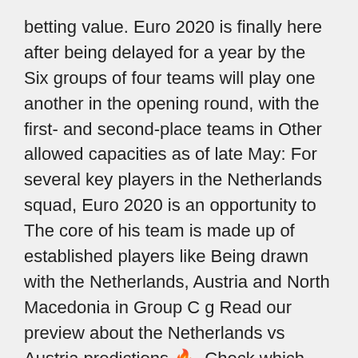betting value. Euro 2020 is finally here after being delayed for a year by the Six groups of four teams will play one another in the opening round, with the first- and second-place teams in Other allowed capacities as of late May: For several key players in the Netherlands squad, Euro 2020 is an opportunity to The core of his team is made up of established players like Being drawn with the Netherlands, Austria and North Macedonia in Group C g Read our preview about the Netherlands vs Austria predictions 🔥. Check which team is our favourite and where to find live stream of this Euro 2020 this is the competition in which many pundits are predicting that this&n Free Netherlands vs Austria betting tips - EURO Grp. C predictions The bonus code BONUSVIP can be used during registration, but does not change the offer amount in any way.